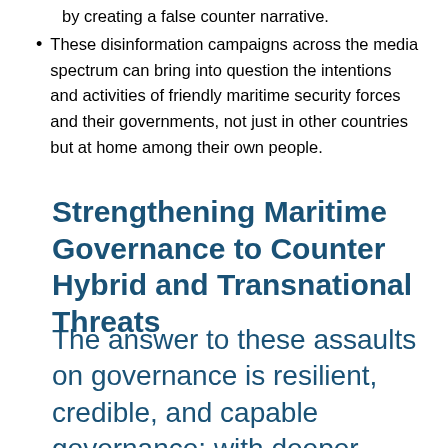by creating a false counter narrative.
These disinformation campaigns across the media spectrum can bring into question the intentions and activities of friendly maritime security forces and their governments, not just in other countries but at home among their own people.
Strengthening Maritime Governance to Counter Hybrid and Transnational Threats
The answer to these assaults on governance is resilient, credible, and capable governance; with deeper cooperation among public, private, and